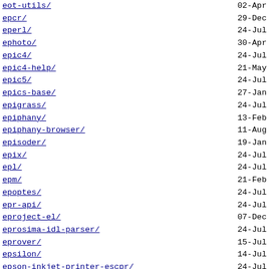| Name | Date |
| --- | --- |
| eot-utils/ | 02-Apr |
| epcr/ | 29-Dec |
| eperl/ | 24-Jul |
| ephoto/ | 30-Apr |
| epic4/ | 24-Jul |
| epic4-help/ | 21-May |
| epic5/ | 24-Jul |
| epics-base/ | 27-Jan |
| epigrass/ | 24-Jul |
| epiphany/ | 13-Feb |
| epiphany-browser/ | 11-Aug |
| episoder/ | 19-Jan |
| epix/ | 24-Jul |
| epl/ | 24-Jul |
| epm/ | 21-Feb |
| epoptes/ | 24-Jul |
| epr-api/ | 24-Jul |
| eproject-el/ | 07-Dec |
| eprosima-idl-parser/ | 24-Jul |
| eprover/ | 15-Jul |
| epsilon/ | 14-Jul |
| epson-inkjet-printer-escpr/ | 24-Jul |
| epstool/ | 29-Dec |
| epubcheck/ | 24-Jul |
| epwutil/ | 01-Nov |
| epydoc/ | 14-Jul |
| epylog/ | 25-Jan |
| eq10q/ | 29-Dec |
| eql/ | 29-Dec |
| eqonomize/ | 24-Jul |